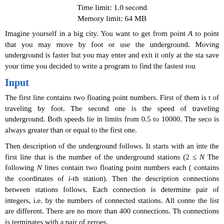Time limit: 1.0 second
Memory limit: 64 MB
Imagine yourself in a big city. You want to get from point A to point that you may move by foot or use the underground. Moving underground is faster but you may enter and exit it only at the sta save your time you decided to write a program to find the fastest rou
Input
The first line contains two floating point numbers. First of them is t of traveling by foot. The second one is the speed of traveling underground. Both speeds lie in limits from 0.5 to 10000. The seco is always greater than or equal to the first one.
Then description of the underground follows. It starts with an inte the first line that is the number of the underground stations (2 ≤ N The following N lines contain two floating point numbers each ( contains the coordinates of i-th station). Then the description connections between stations follows. Each connection is determine pair of integers, i.e. by the numbers of connected stations. All conne the list are different. There are no more than 400 connections. Th connections is terminates with a pair of zeroes.